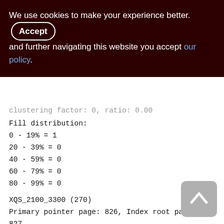We use cookies to make your experience better. By accepting and further navigating this website you accept our policy.
clustering factor: 0, ratio: 0.00
Fill distribution:
0 - 19% = 1
20 - 39% = 0
40 - 59% = 0
60 - 79% = 0
80 - 99% = 0
XQS_2100_3300 (270)
Primary pointer page: 826, Index root page: 827
Total formats: 1, used formats: 1
Average record length: 83.77, total